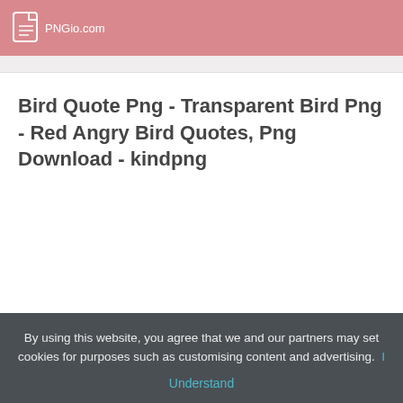PNGio.com
Bird Quote Png - Transparent Bird Png - Red Angry Bird Quotes, Png Download - kindpng
By using this website, you agree that we and our partners may set cookies for purposes such as customising content and advertising.
Understand